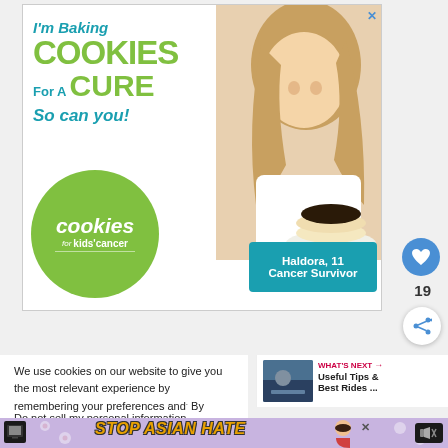[Figure (illustration): Cookies for Kids' Cancer advertisement. Shows a young blonde girl (Haldora, 11, Cancer Survivor) holding a plate of chocolate-topped cookies. Text reads: I'm Baking COOKIES For A CURE So can you! with the cookies for kids' cancer logo in a green circle and a teal banner saying Haldora, 11 Cancer Survivor.]
[Figure (illustration): Heart/like button circle icon (blue) with count 19 below]
[Figure (illustration): Share button circle icon (white with share icon)]
We use cookies on our website to give you the most relevant experience by remembering your preferences and. By clicking “Accept”, you consent to the use of AL
Do not sell my personal information.
[Figure (screenshot): WHAT'S NEXT panel: thumbnail image of person, text 'Useful Tips & Best Rides ...']
[Figure (illustration): Stop Asian Hate banner advertisement with orange bold text on lavender background with flower pattern and woman illustration]